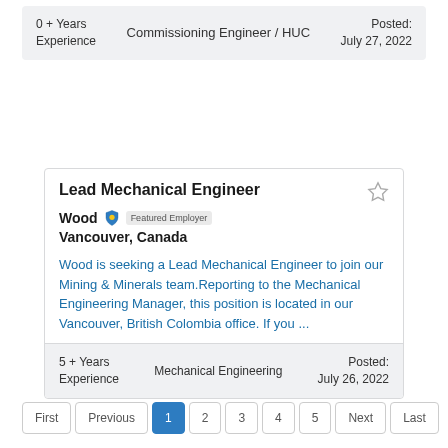0 + Years Experience | Commissioning Engineer / HUC | Posted: July 27, 2022
Lead Mechanical Engineer
Wood Featured Employer Vancouver, Canada
Wood is seeking a Lead Mechanical Engineer to join our Mining & Minerals team.Reporting to the Mechanical Engineering Manager, this position is located in our Vancouver, British Colombia office. If you ...
5 + Years Experience | Mechanical Engineering | Posted: July 26, 2022
First
Previous
1
2
3
4
5
Next
Last